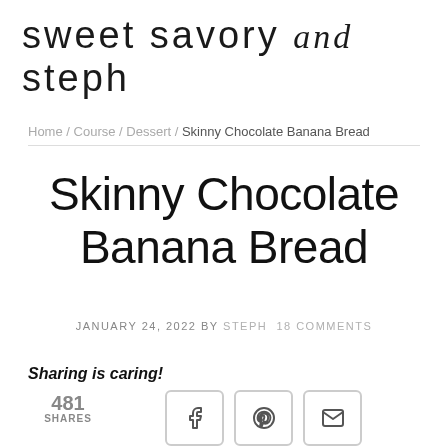sweet savory and steph
Home / Course / Dessert / Skinny Chocolate Banana Bread
Skinny Chocolate Banana Bread
JANUARY 24, 2022 BY STEPH 18 COMMENTS
Sharing is caring!
481 SHARES